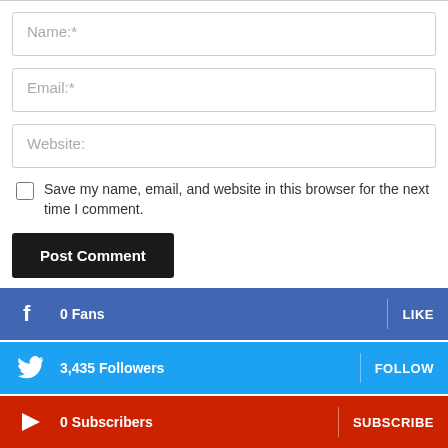Name:*
Email:*
Website:
Save my name, email, and website in this browser for the next time I comment.
Post Comment
0  Fans  LIKE
3,435  Followers  FOLLOW
0  Subscribers  SUBSCRIBE